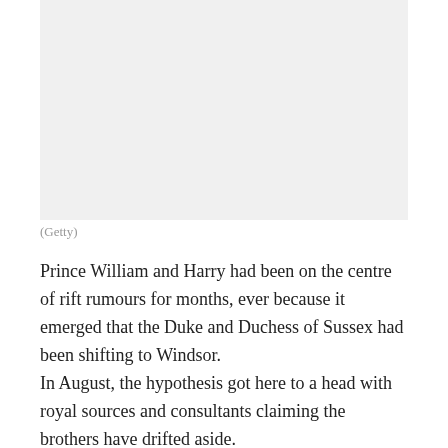[Figure (photo): Photo placeholder area (Getty image)]
(Getty)
Prince William and Harry had been on the centre of rift rumours for months, ever because it emerged that the Duke and Duchess of Sussex had been shifting to Windsor.
In August, the hypothesis got here to a head with royal sources and consultants claiming the brothers have drifted aside.